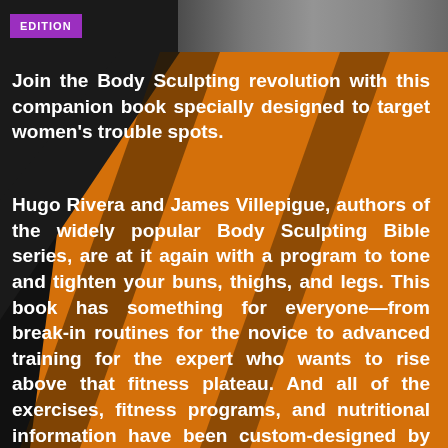[Figure (illustration): Top bar with purple EDITION badge and dark gray background, partial image visible on right]
Join the Body Sculpting revolution with this companion book specially designed to target women's trouble spots.
Hugo Rivera and James Villepigue, authors of the widely popular Body Sculpting Bible series, are at it again with a program to tone and tighten your buns, thighs, and legs. This book has something for everyone—from break-in routines for the novice to advanced training for the expert who wants to rise above that fitness plateau. And all of the exercises, fitness programs, and nutritional information have been custom-designed by the experts to sculpt, slim, and strengthen the unique contours of a